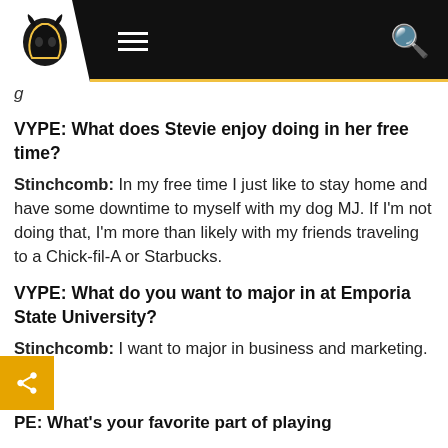[Figure (logo): Black buffalo/bison head logo with gold and white background, website header with hamburger menu and search icon]
g
VYPE: What does Stevie enjoy doing in her free time?
Stinchcomb: In my free time I just like to stay home and have some downtime to myself with my dog MJ. If I'm not doing that, I'm more than likely with my friends traveling to a Chick-fil-A or Starbucks.
VYPE: What do you want to major in at Emporia State University?
Stinchcomb: I want to major in business and marketing.
PE: What's your favorite part of playing